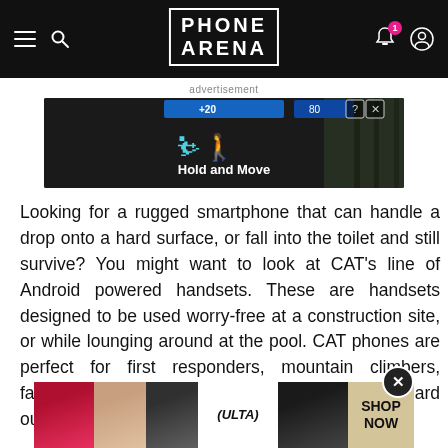PHONE ARENA
advertisement
[Figure (screenshot): Advertisement banner showing 'Hold and Move' app/game with dark background and outdoor scene]
Looking for a rugged smartphone that can handle a drop onto a hard surface, or fall into the toilet and still survive? You might want to look at CAT's line of Android powered handsets. These are handsets designed to be used worry-free at a construction site, or while lounging around at the pool. CAT phones are perfect for first responders, mountain climbers, farmers and anyone who works or plays hard outdoors.
[Figure (screenshot): Ulta Beauty advertisement banner with lip, brush, eye images and 'SHOP NOW' call to action]